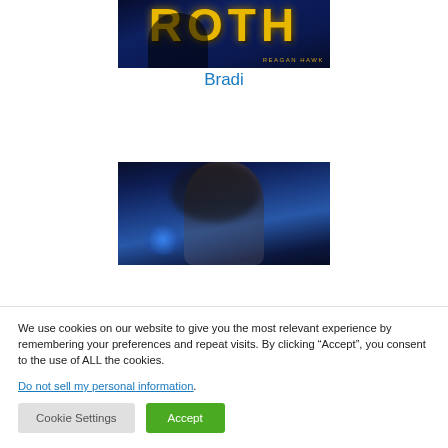[Figure (illustration): Top portion of a book cover with large gold 'ROTH' text on a dark blue fantasy background, with 'REAGAN HAWK' text at the bottom right]
Bradi
[Figure (illustration): Lower portion of a book cover showing a person with long dark hair against a blue fantasy background]
We use cookies on our website to give you the most relevant experience by remembering your preferences and repeat visits. By clicking “Accept”, you consent to the use of ALL the cookies.
Do not sell my personal information.
Cookie Settings
Accept